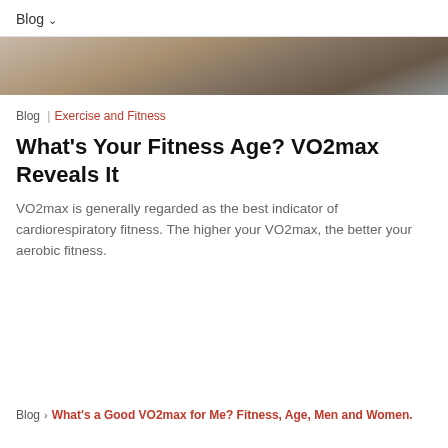Blog ∨
[Figure (photo): Hero image showing a person exercising, sepia/dark toned photograph]
Blog | Exercise and Fitness
What's Your Fitness Age? VO2max Reveals It
VO2max is generally regarded as the best indicator of cardiorespiratory fitness. The higher your VO2max, the better your aerobic fitness.
Blog > What's a Good VO2max for Me? Fitness, Age, Men and Women.